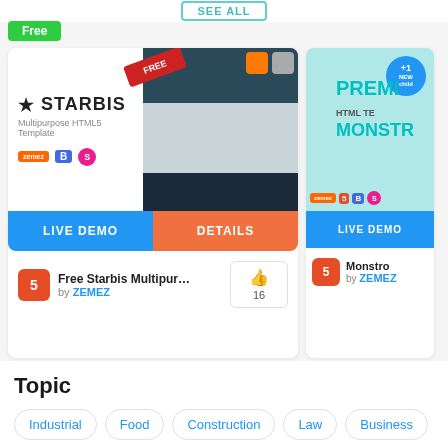[Figure (screenshot): Website template marketplace page showing two template cards. First card: Free Starbis Multipurpose HTML5 Template by ZEMEZ with LIVE DEMO and DETAILS buttons, 16 likes. Second card (partially visible): Monstro Premium HTML Template by ZEMEZ with LIVE DEMO button.]
Free Starbis Multipur... by ZEMEZ
Monstro by ZEMEZ
Topic
Industrial
Food
Construction
Law
Business